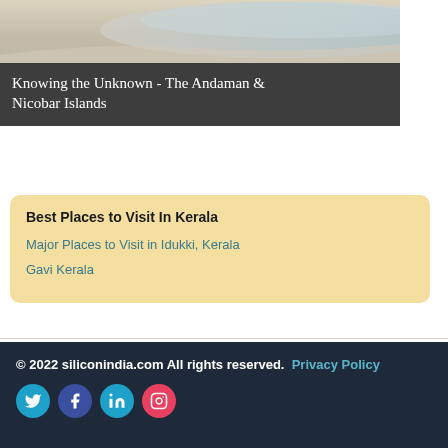[Figure (photo): Top portion of a beach/ocean photograph showing sand and water]
Knowing the Unknown - The Andaman & Nicobar Islands
Best Places to Visit In Kerala
Major Places to Visit in Idukki, Kerala
Gavi Kerala
© 2022 siliconindia.com All rights reserved.  Privacy Policy